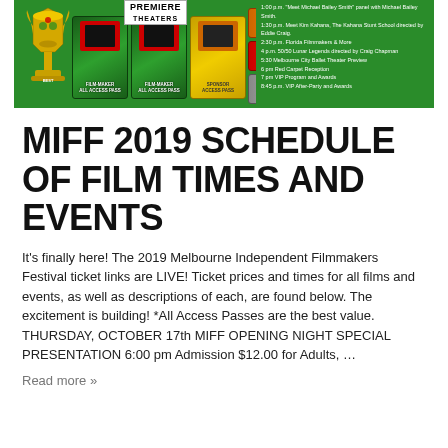[Figure (photo): MIFF 2019 Premiere Theaters banner with film-maker all access passes, sponsor all access passes, a golden trophy, ticket stubs, and a schedule of events on green background]
MIFF 2019 SCHEDULE OF FILM TIMES AND EVENTS
It's finally here!  The 2019 Melbourne Independent Filmmakers Festival ticket links are LIVE!  Ticket prices and times for all films and events, as well as descriptions of each, are found below.  The excitement is building! *All Access Passes are the best value. THURSDAY, OCTOBER 17th  MIFF OPENING NIGHT SPECIAL PRESENTATION    6:00 pm Admission $12.00 for Adults, …
Read more »